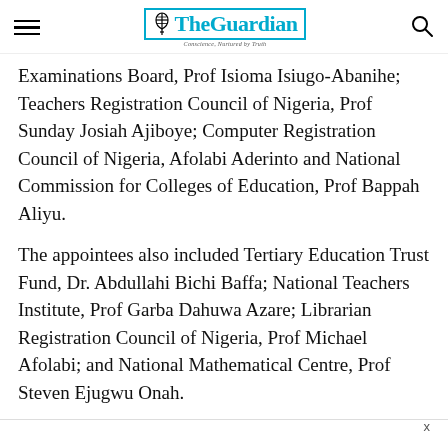The Guardian — Conscience, Nurtured by Truth
Examinations Board, Prof Isioma Isiugo-Abanihe; Teachers Registration Council of Nigeria, Prof Sunday Josiah Ajiboye; Computer Registration Council of Nigeria, Afolabi Aderinto and National Commission for Colleges of Education, Prof Bappah Aliyu.
The appointees also included Tertiary Education Trust Fund, Dr. Abdullahi Bichi Baffa; National Teachers Institute, Prof Garba Dahuwa Azare; Librarian Registration Council of Nigeria, Prof Michael Afolabi; and National Mathematical Centre, Prof Steven Ejugwu Onah.